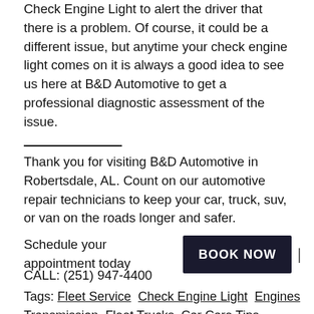Check Engine Light to alert the driver that there is a problem. Of course, it could be a different issue, but anytime your check engine light comes on it is always a good idea to see us here at B&D Automotive to get a professional diagnostic assessment of the issue.
Thank you for visiting B&D Automotive in Robertsdale, AL. Count on our automotive repair technicians to keep your car, truck, suv, or van on the roads longer and safer.
Schedule your appointment today BOOK NOW | CALL: (251) 947-4400
Tags: Fleet Service  Check Engine Light  Engines  Transmission  Fleet Trucks  Car Care Tips